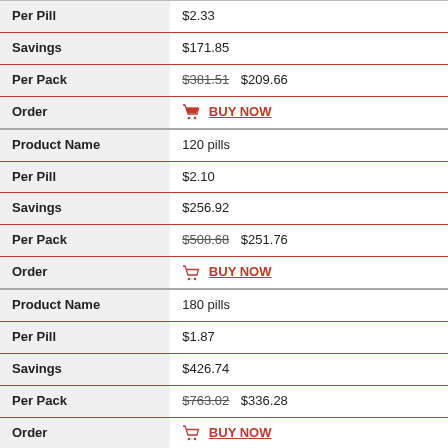| Field | Value |
| --- | --- |
| Per Pill | $2.33 |
| Savings | $171.85 |
| Per Pack | $381.51  $209.66 |
| Order | BUY NOW |
| Product Name | 120 pills |
| Per Pill | $2.10 |
| Savings | $256.92 |
| Per Pack | $508.68  $251.76 |
| Order | BUY NOW |
| Product Name | 180 pills |
| Per Pill | $1.87 |
| Savings | $426.74 |
| Per Pack | $763.02  $336.28 |
| Order | BUY NOW |